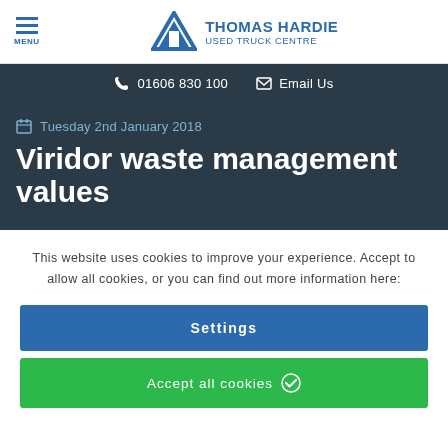THOMAS HARDIE USED TRUCK CENTRE
01606 830 100  Email Us
Tuesday 2nd January 2018
Viridor waste management values
This website uses cookies to improve your experience. Accept to allow all cookies, or you can find out more information here:
Settings
Accept all cookies